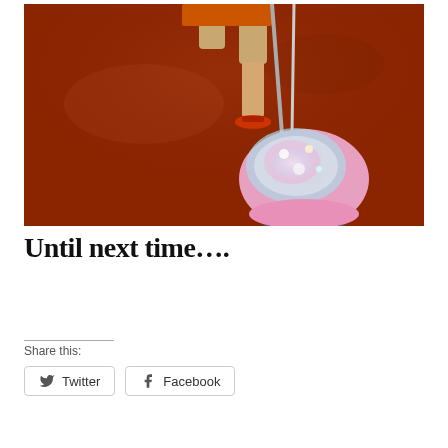[Figure (photo): A photo taken from above showing a child's legs in khaki shorts and flip-flops walking on a shiny red/terracotta floor, pulling a pink and light-blue sparkly wheeled suitcase with a cartoon character design on it. The child is wearing an orange top and dragging the small luggage behind them.]
Until next time….
Share this: